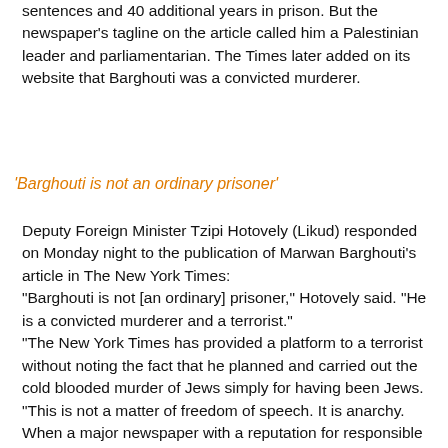sentences and 40 additional years in prison. But the newspaper's tagline on the article called him a Palestinian leader and parliamentarian. The Times later added on its website that Barghouti was a convicted murderer.
'Barghouti is not an ordinary prisoner'
Deputy Foreign Minister Tzipi Hotovely (Likud) responded on Monday night to the publication of Marwan Barghouti's article in The New York Times:
"Barghouti is not [an ordinary] prisoner," Hotovely said. "He is a convicted murderer and a terrorist."
"The New York Times has provided a platform to a terrorist without noting the fact that he planned and carried out the cold blooded murder of Jews simply for having been Jews.
"This is not a matter of freedom of speech. It is anarchy. When a major newspaper with a reputation for responsible journalism becomes a platform for murderers, it provides legitimacy for terrorism. This is a very disappointing decision by